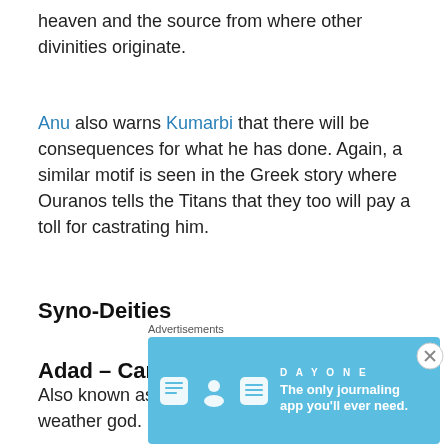heaven and the source from where other divinities originate.
Anu also warns Kumarbi that there will be consequences for what he has done. Again, a similar motif is seen in the Greek story where Ouranos tells the Titans that they too will pay a toll for castrating him.
Syno-Deities
Adad – Canannite/Mesopotamian
Also known as Hadad, he is a similar storm and weather god.
Advertisements
[Figure (illustration): DAY ONE app advertisement banner with blue background, icons for journal, person, and list, with tagline 'The only journaling app you'll ever need.']